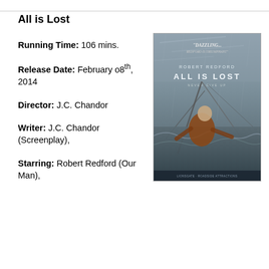All is Lost
Running Time: 106 mins.
Release Date: February 08th, 2014
Director: J.C. Chandor
Writer: J.C. Chandor (Screenplay),
[Figure (photo): Movie poster for All is Lost starring Robert Redford. Shows a man in an orange jacket struggling on a sailboat in stormy seas. Text reads: 'DAZZLING... ROBERT REDFORD ALL IS LOST NEVER GIVE UP']
Starring: Robert Redford (Our Man),